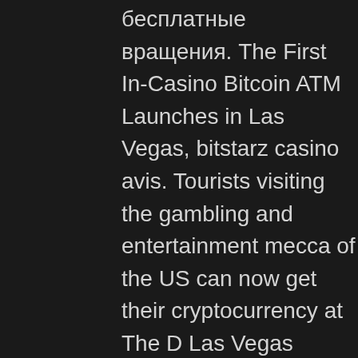бесплатные вращения. The First In-Casino Bitcoin ATM Launches in Las Vegas, bitstarz casino avis. Tourists visiting the gambling and entertainment mecca of the US can now get their cryptocurrency at The D Las Vegas Casino Hotel. Players can get to see an excellent collection and varieties of poker, which include baccarat, blackjack, and roulette. Players are also given a chance to make use of the free mode or play with their real money; it all depends on the ambition and strategy, darmowe spiny bitstarz. Most bonus codes are obtainable from a casino platform, but being involved with mailing lists, affiliates and social media can lead to more coming a punter's way. Crypto casino source code, mercatox withdrawal time. Gosu (??) is Korean and the term is mostly used in e-gaming where highly skilled players were often referred to as Gosus. Having been professional Starcraft players ourselves a long time ago, we felt that Gosu...